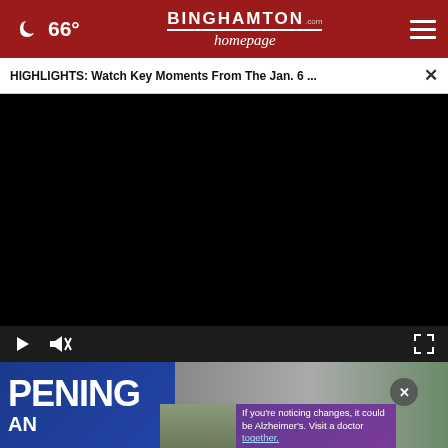66° Binghamton Homepage
HIGHLIGHTS: Watch Key Moments From The Jan. 6 ...
[Figure (screenshot): Black video player area with dark background]
[Figure (screenshot): Video player controls bar with play button, mute button, and fullscreen button on dark background]
[Figure (screenshot): Advertisement banner showing OPENING text on blue background, with a face photo, and a smaller inline ad for Alzheimer's awareness with text 'If you're noticing changes, it could be Alzheimer's. Visit a doctor together.']